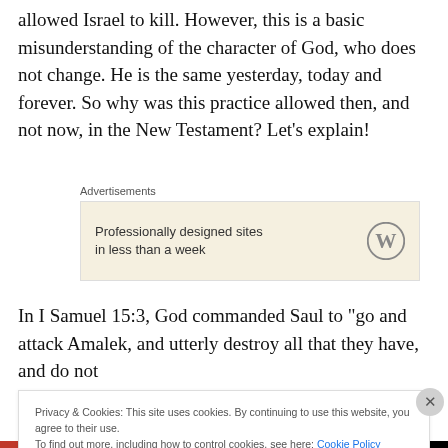allowed Israel to kill. However, this is a basic misunderstanding of the character of God, who does not change. He is the same yesterday, today and forever. So why was this practice allowed then, and not now, in the New Testament? Let’s explain!
Advertisements
[Figure (other): WordPress advertisement box: 'Professionally designed sites in less than a week' with WordPress logo]
In I Samuel 15:3, God commanded Saul to “go and attack Amalek, and utterly destroy all that they have, and do not
Privacy & Cookies: This site uses cookies. By continuing to use this website, you agree to their use.
To find out more, including how to control cookies, see here: Cookie Policy
Close and accept